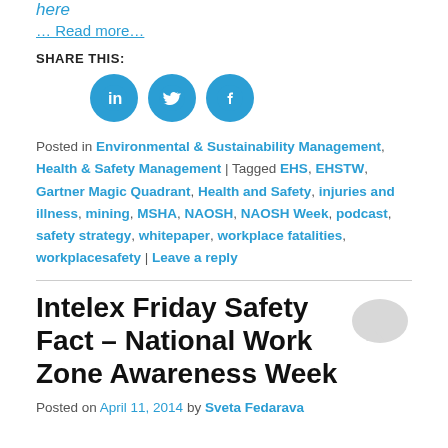here
… Read more…
SHARE THIS:
[Figure (other): Three circular social media share buttons: LinkedIn, Twitter, Facebook]
Posted in Environmental & Sustainability Management, Health & Safety Management | Tagged EHS, EHSTW, Gartner Magic Quadrant, Health and Safety, injuries and illness, mining, MSHA, NAOSH, NAOSH Week, podcast, safety strategy, whitepaper, workplace fatalities, workplacesafety | Leave a reply
Intelex Friday Safety Fact – National Work Zone Awareness Week
Posted on April 11, 2014 by Sveta Fedarava